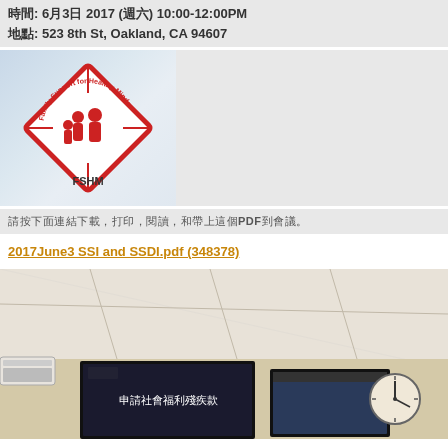時間: 6月3日 2017 (週六) 10:00-12:00PM
地點: 523 8th St, Oakland, CA 94607
[Figure (logo): FSHM (Family Support for Healthy Minds) diamond-shaped logo with red outline, showing family silhouettes, text reading 'Family Support for Healthy Minds' around the diamond border, and 'FSHM' below]
請按下面連結下載，打印，閱讀，和帶上這個PDF到會議。
2017June3 SSI and SSDI.pdf (348378)
[Figure (photo): Indoor room photo showing a projector screen displaying Chinese text '申請社會福利殘疾款' and a laptop screen, with a clock on the wall and an air conditioning unit visible]